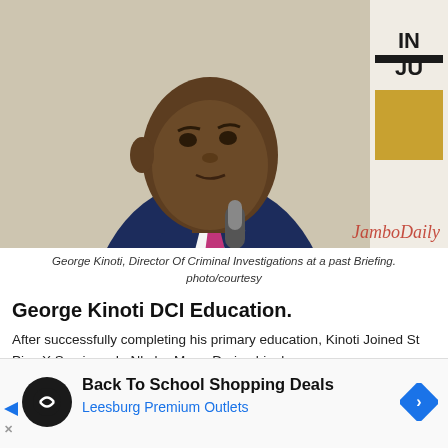[Figure (photo): George Kinoti, Director Of Criminal Investigations, speaking at a podium with a microphone, wearing a dark suit and magenta tie. A banner/sign visible on the right side. Watermark reads 'Jambo Daily'.]
George Kinoti, Director Of Criminal Investigations at a past Briefing. photo/courtesy
George Kinoti DCI Education.
After successfully completing his primary education, Kinoti Joined St Pius X Seminary In Nkubu-Meru. During his days a minor seminary, he had wanted to become a priest
[Figure (infographic): Advertisement: Back To School Shopping Deals – Leesburg Premium Outlets, with a black circular icon featuring a double-arrow symbol and a blue diamond navigation arrow icon.]